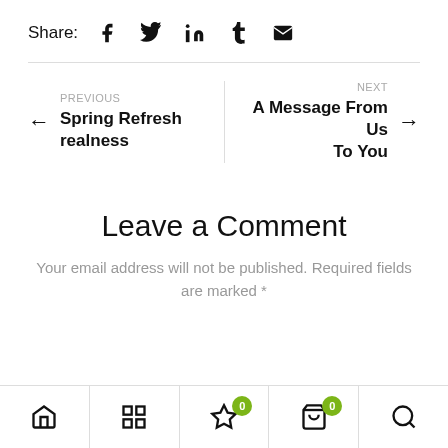Share: [Facebook] [Twitter] [LinkedIn] [Tumblr] [Email]
← PREVIOUS Spring Refresh realness
NEXT A Message From Us To You →
Leave a Comment
Your email address will not be published. Required fields are marked *
[Home] [Grid] [Wishlist 0] [Cart 0] [Search]